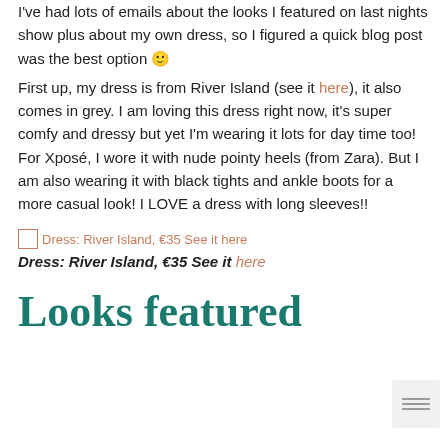I've had lots of emails about the looks I featured on last nights show plus about my own dress, so I figured a quick blog post was the best option 🙂
First up, my dress is from River Island (see it here), it also comes in grey. I am loving this dress right now, it's super comfy and dressy but yet I'm wearing it lots for day time too! For Xposé, I wore it with nude pointy heels (from Zara). But I am also wearing it with black tights and ankle boots for a more casual look! I LOVE a dress with long sleeves!!
[Figure (other): Broken image icon with link text: Dress: River Island, €35 See it here]
Dress: River Island, €35 See it here
Looks featured